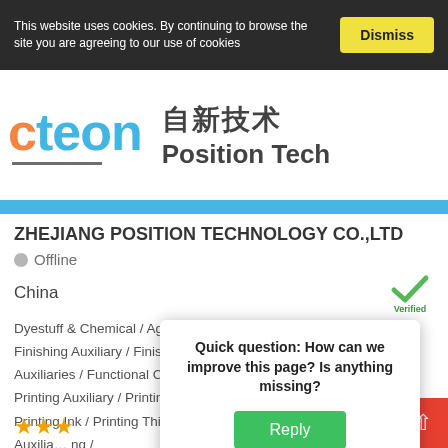This website uses cookies. By continuing to browse the site you are agreeing to our use of cookies
[Figure (logo): Cteon / Zhejiang Position Technology company logo showing 'cteon' in teal, Chinese characters, and 'Position Tech' text]
ZHEJIANG POSITION TECHNOLOGY CO.,LTD
Offline
China
Dyestuff & Chemical / Agent / Color Dyestuff / Dyeing Auxiliaries / Finishing Auxiliary / Finishing Chemicals / Fixing Agent / Functional Auxiliaries / Functional Chemicals / Pre-Treatment Auxiliaries / Printing Auxiliary / Printing Behind Treatment / Printing Binder / Printing Ink / Printing Thickener / Printing Treatment...ess Auxilia...ng / Textile
Quick question: How can we improve this page? Is anything missing?